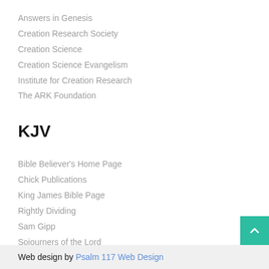Answers in Genesis
Creation Research Society
Creation Science
Creation Science Evangelism
Institute for Creation Research
The ARK Foundation
KJV
Bible Believer's Home Page
Chick Publications
King James Bible Page
Rightly Dividing
Sam Gipp
Sojourners of the Lord
Valiant for Truth
Web design by Psalm 117 Web Design